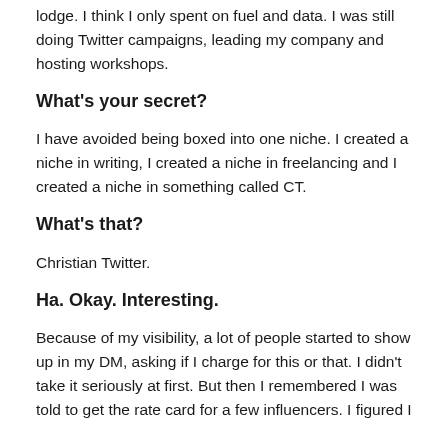lodge. I think I only spent on fuel and data. I was still doing Twitter campaigns, leading my company and hosting workshops.
What's your secret?
I have avoided being boxed into one niche. I created a niche in writing, I created a niche in freelancing and I created a niche in something called CT.
What's that?
Christian Twitter.
Ha. Okay. Interesting.
Because of my visibility, a lot of people started to show up in my DM, asking if I charge for this or that. I didn't take it seriously at first. But then I remembered I was told to get the rate card for a few influencers. I figured I